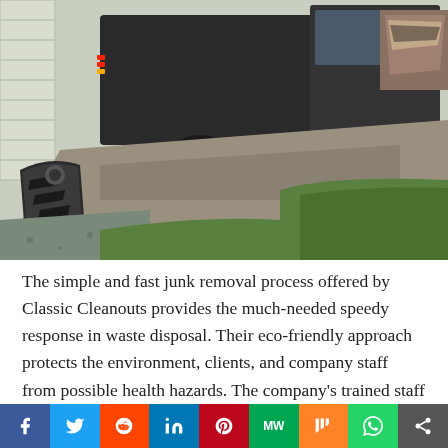[Figure (photo): A large truck (Ballard brand) parked on a driveway next to a house, with a damaged car bumper or fender piece lying on the grass/gravel in the foreground, and a pile of scrap metal/junk visible at the far right.]
The simple and fast junk removal process offered by Classic Cleanouts provides the much-needed speedy response in waste disposal. Their eco-friendly approach protects the environment, clients, and company staff from possible health hazards. The company's trained staff offers useful insights on waste disposal to clients and uses their skills and knowledge to ensure that their items are handled...